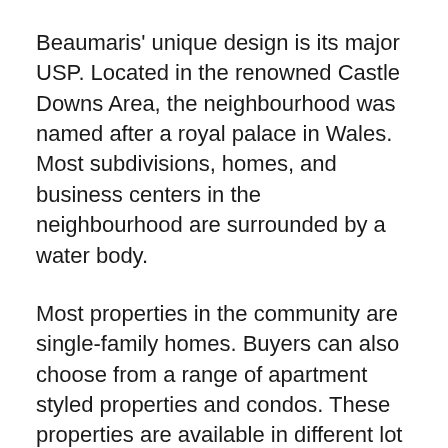Beaumaris' unique design is its major USP. Located in the renowned Castle Downs Area, the neighbourhood was named after a royal palace in Wales. Most subdivisions, homes, and business centers in the neighbourhood are surrounded by a water body.
Most properties in the community are single-family homes. Buyers can also choose from a range of apartment styled properties and condos. These properties are available in different lot sizes, designs, and floor plans.
The neighbourhood's design closely mimics that of castles. Castles used to have a moat that was created to deter intruders from attacking. Water bodies surrounding properties in Beaumaris provide an illusion of moats, which